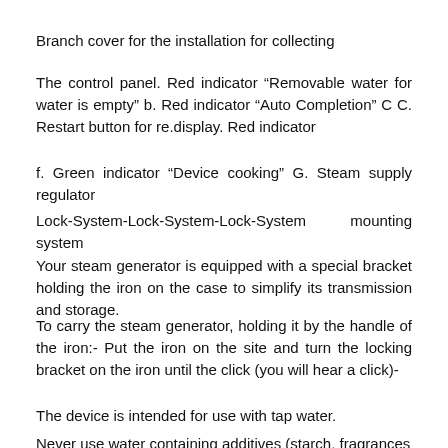Branch cover for the installation for collecting
The control panel. Red indicator “Removable water for water is empty” b. Red indicator “Auto Completion” C C. Restart button for re.display. Red indicator
f. Green indicator “Device cooking” G. Steam supply regulator
Lock-System-Lock-System-Lock-System mounting system
Your steam generator is equipped with a special bracket holding the iron on the case to simplify its transmission and storage.
To carry the steam generator, holding it by the handle of the iron:- Put the iron on the site and turn the locking bracket on the iron until the click (you will hear a click)-
The device is intended for use with tap water.
Never use water containing additives (starch, fragrances